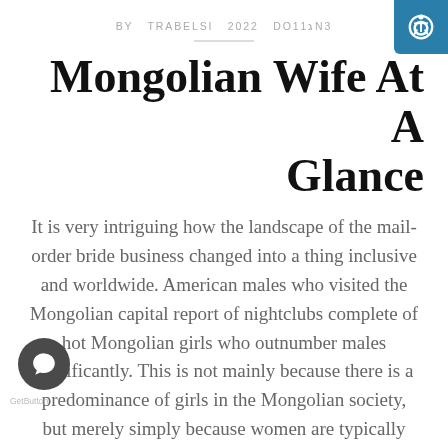BY TRABELSI 2022 DO1ג1N3
Mongolian Wife At A Glance
It is very intriguing how the landscape of the mail-order bride business changed into a thing inclusive and worldwide. American males who visited the Mongolian capital report of nightclubs complete of hot Mongolian girls who outnumber males significantly. This is not mainly because there is a predominance of girls in the Mongolian society, but merely simply because women are typically not charged entrance fees to these clubs. Living in a somewhat low-revenue country, Mongolian men can